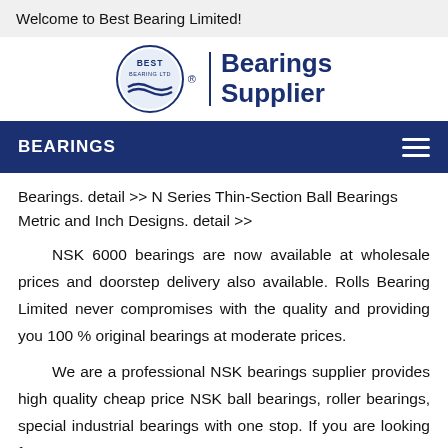Welcome to Best Bearing Limited!
[Figure (logo): Best Bearing Ltd logo: circular emblem with text BEST BEARING LTD and wave design, followed by a vertical divider and the text 'Bearings Supplier' in bold dark blue.]
BEARINGS
Bearings. detail >> N Series Thin-Section Ball Bearings Metric and Inch Designs. detail >>
NSK 6000 bearings are now available at wholesale prices and doorstep delivery also available. Rolls Bearing Limited never compromises with the quality and providing you 100 % original bearings at moderate prices.
We are a professional NSK bearings supplier provides high quality cheap price NSK ball bearings, roller bearings, special industrial bearings with one stop. If you are looking for 6000 NSK